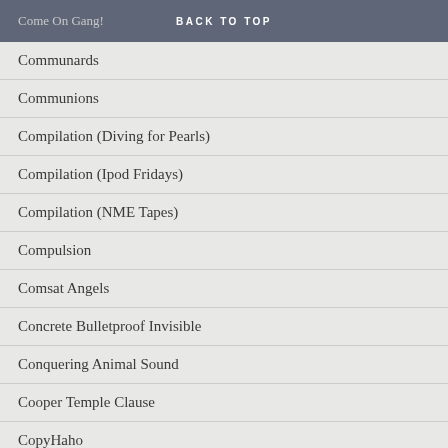Come On Gang! BACK TO TOP
Communards
Communions
Compilation (Diving for Pearls)
Compilation (Ipod Fridays)
Compilation (NME Tapes)
Compulsion
Comsat Angels
Concrete Bulletproof Invisible
Conquering Animal Sound
Cooper Temple Clause
CopyHaho
Coral